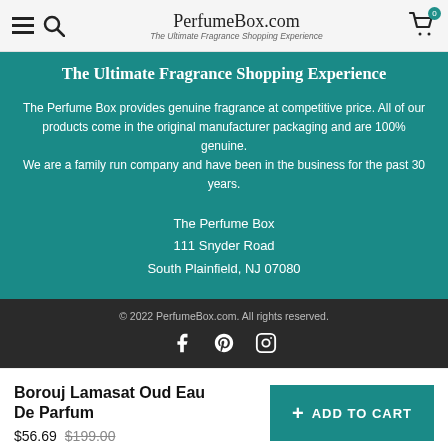PerfumeBox.com – The Ultimate Fragrance Shopping Experience
The Ultimate Fragrance Shopping Experience
The Perfume Box provides genuine fragrance at competitive price. All of our products come in the original manufacturer packaging and are 100% genuine.
We are a family run company and have been in the business for the past 30 years.
The Perfume Box
111 Snyder Road
South Plainfield, NJ 07080
© 2022 PerfumeBox.com. All rights reserved.
Borouj Lamasat Oud Eau De Parfum
$56.69  $199.00